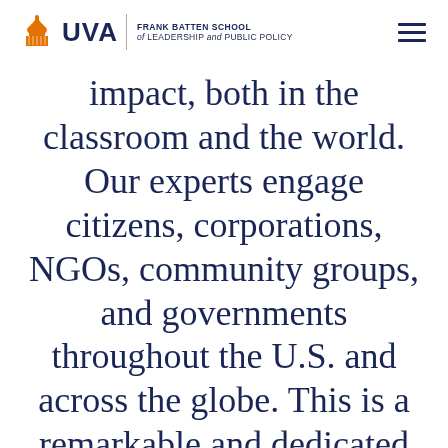UVA | FRANK BATTEN SCHOOL of LEADERSHIP and PUBLIC POLICY
impact, both in the classroom and the world. Our experts engage citizens, corporations, NGOs, community groups, and governments throughout the U.S. and across the globe. This is a remarkable and dedicated group."